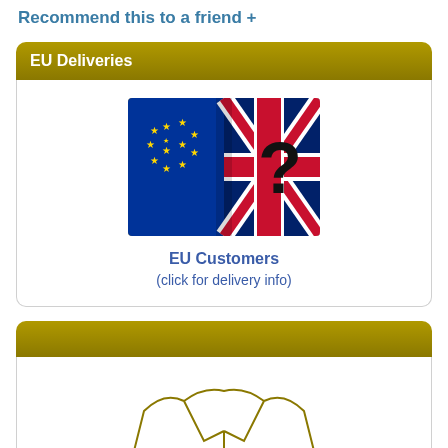Recommend this to a friend  +
EU Deliveries
[Figure (photo): Photo showing EU flag and UK flag with a question mark overlay, suggesting Brexit delivery uncertainty]
EU Customers
(click for delivery info)
[Figure (illustration): Illustration of a jacket/clothing outline with the word 'Sizes' written in gold textured lettering inside]